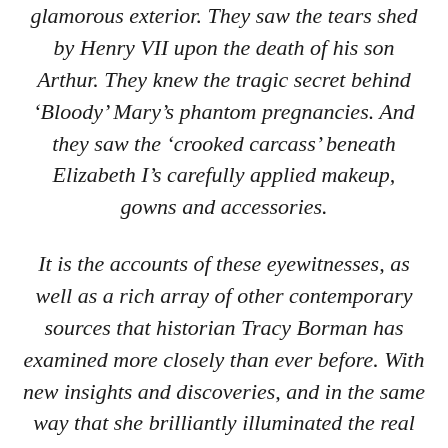glamorous exterior. They saw the tears shed by Henry VII upon the death of his son Arthur. They knew the tragic secret behind ‘Bloody’ Mary’s phantom pregnancies. And they saw the ‘crooked carcass’ beneath Elizabeth I’s carefully applied makeup, gowns and accessories.
It is the accounts of these eyewitnesses, as well as a rich array of other contemporary sources that historian Tracy Borman has examined more closely than ever before. With new insights and discoveries, and in the same way that she brilliantly illuminated the real